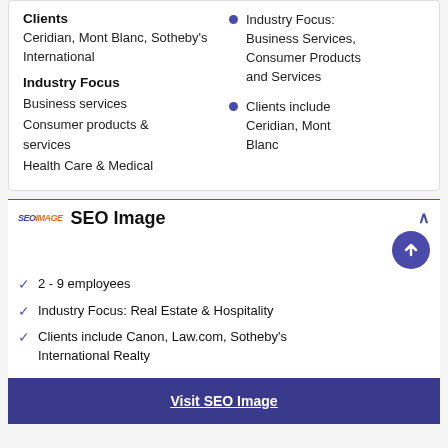Clients
Ceridian, Mont Blanc, Sotheby's International
Industry Focus
Business services
Consumer products & services
Health Care & Medical
Industry Focus: Business Services, Consumer Products and Services
Clients include Ceridian, Mont Blanc
SEO Image
2 - 9 employees
Industry Focus: Real Estate & Hospitality
Clients include Canon, Law.com, Sotheby's International Realty
Visit SEO Image